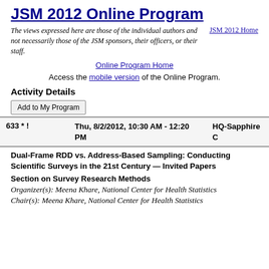JSM 2012 Online Program
The views expressed here are those of the individual authors and not necessarily those of the JSM sponsors, their officers, or their staff.
Online Program Home
Access the mobile version of the Online Program.
Activity Details
|  | Date/Time | Location |
| --- | --- | --- |
| 633 * ! | Thu, 8/2/2012, 10:30 AM - 12:20 PM | HQ-Sapphire C |
Dual-Frame RDD vs. Address-Based Sampling: Conducting Scientific Surveys in the 21st Century — Invited Papers
Section on Survey Research Methods
Organizer(s): Meena Khare, National Center for Health Statistics
Chair(s): Meena Khare, National Center for Health Statistics